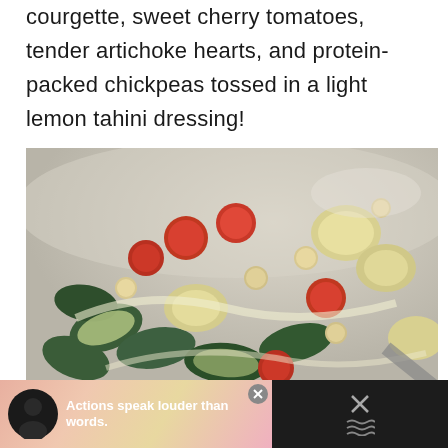courgette, sweet cherry tomatoes, tender artichoke hearts, and protein-packed chickpeas tossed in a light lemon tahini dressing!
[Figure (photo): A close-up photo of a salad bowl containing courgette/zucchini slices, cherry tomatoes, artichoke hearts, and chickpeas tossed in a cream-colored tahini dressing, served in a light-colored bowl on a grey background.]
Actions speak louder than words.